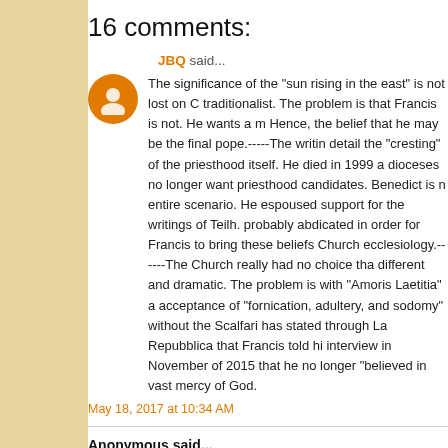16 comments:
JBQ said...
The significance of the "sun rising in the east" is not lost on C traditionalist. The problem is that Francis is not. He wants a m Hence, the belief that he may be the final pope.-----The writin detail the "cresting" of the priesthood itself. He died in 1999 a dioceses no longer want priesthood candidates. Benedict is n entire scenario. He espoused support for the writings of Teilh. probably abdicated in order for Francis to bring these beliefs Church ecclesiology.------The Church really had no choice tha different and dramatic. The problem is with "Amoris Laetitia" a acceptance of "fornication, adultery, and sodomy" without the Scalfari has stated through La Repubblica that Francis told hi interview in November of 2015 that he no longer "believed in vast mercy of God.
May 18, 2017 at 10:34 AM
Anonymous said...
Was Benedict XVI possibly conditionally re-consecrated by a before July 1968?
I have read before that we the Laity would be very surprised b post-July 1968 have received conditional Holy Orders from pr I am not saying this is true but it would explain a lot of the ten